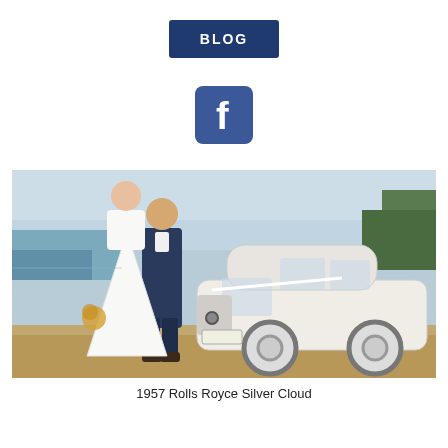[Figure (other): Dark blue BLOG button/rectangle with white bold text 'BLOG']
[Figure (logo): Facebook icon - blue rounded square with white 'f' logo]
[Figure (photo): A bride and groom standing beside a white 1957 Rolls Royce Silver Cloud on a beach/waterfront location]
1957 Rolls Royce Silver Cloud